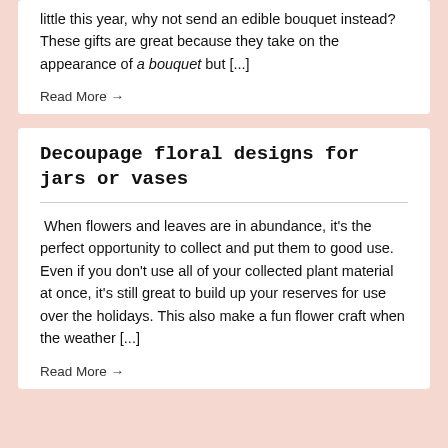little this year, why not send an edible bouquet instead? These gifts are great because they take on the appearance of a bouquet but [...]
Read More →
Decoupage floral designs for jars or vases
When flowers and leaves are in abundance, it's the perfect opportunity to collect and put them to good use. Even if you don't use all of your collected plant material at once, it's still great to build up your reserves for use over the holidays. This also make a fun flower craft when the weather [...]
Read More →